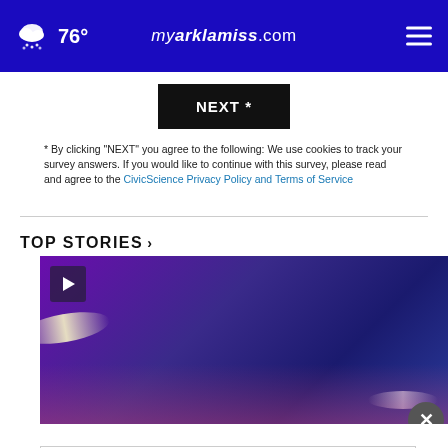76° myarklamiss.com
NEXT *
* By clicking "NEXT" you agree to the following: We use cookies to track your survey answers. If you would like to continue with this survey, please read and agree to the CivicScience Privacy Policy and Terms of Service
TOP STORIES ›
[Figure (screenshot): Video thumbnail with play button, purple/blue gradient background with light bokeh effects, and a close button overlay]
[Figure (infographic): Advertisement banner: Listen to the new podcast about adoption. Adopt US Kids logo, HHS logo, Ad Choice badge.]